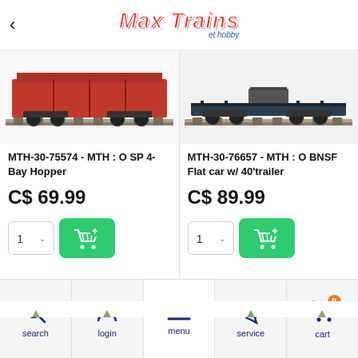Max Trains et hobby
[Figure (photo): Red SP 4-Bay Hopper model train car on tracks (partial view, cropped)]
MTH-30-75574 - MTH : O SP 4-Bay Hopper
C$ 69.99
[Figure (photo): Black BNSF Flat car with 40' trailer model train on tracks (partial view, cropped)]
MTH-30-76657 - MTH : O BNSF Flat car w/ 40'trailer
C$ 89.99
search | login | menu | service | cart (0)